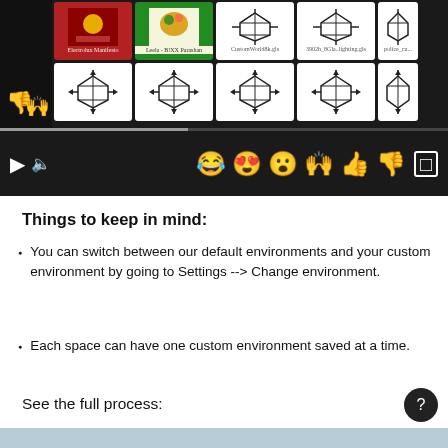[Figure (screenshot): Screenshot of a video player interface showing a grid of thumbnails including colorful images and 3D cube/environment icons, with video playback controls and emoji reactions at the bottom of the player.]
Things to keep in mind:
You can switch between our default environments and your custom environment by going to Settings --> Change environment.
Each space can have one custom environment saved at a time.
See the full process: